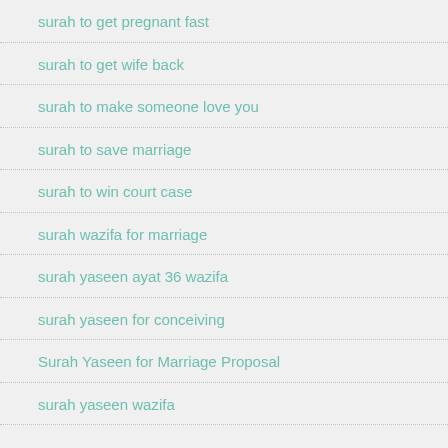surah to get pregnant fast
surah to get wife back
surah to make someone love you
surah to save marriage
surah to win court case
surah wazifa for marriage
surah yaseen ayat 36 wazifa
surah yaseen for conceiving
Surah Yaseen for Marriage Proposal
surah yaseen wazifa
Click to Consult on Whatsapp